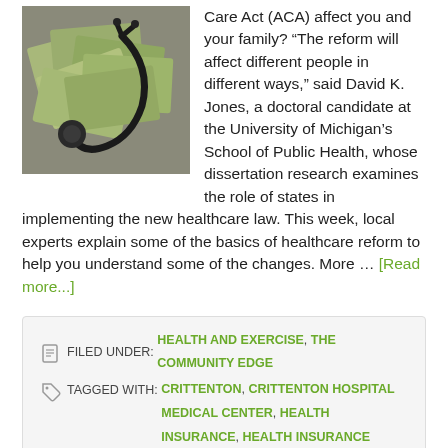[Figure (photo): Photo of dollar bills spread out with a stethoscope on top]
Care Act (ACA) affect you and your family? “The reform will affect different people in different ways,” said David K. Jones, a doctoral candidate at the University of Michigan’s School of Public Health, whose dissertation research examines the role of states in implementing the new healthcare law. This week, local experts explain some of the basics of healthcare reform to help you understand some of the changes. More … [Read more...]
FILED UNDER: HEALTH AND EXERCISE, THE COMMUNITY EDGE
TAGGED WITH: CRITTENTON, CRITTENTON HOSPITAL MEDICAL CENTER, HEALTH INSURANCE, HEALTH INSURANCE EXCHANGE, HEALTHCARE, HEALTHCARE REFORM, MEDICAID, MEDICARE, MICHILD, RICK YOUNG INSURANCE, ROCHESTER, ROCHESTER HILLS, THE AFFORDABLE CARE ACT, THE UNIVERSITY OF MICHIGAN